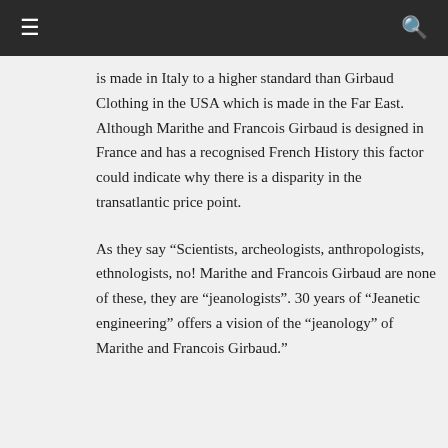≡   🔍
is made in Italy to a higher standard than Girbaud Clothing in the USA which is made in the Far East. Although Marithe and Francois Girbaud is designed in France and has a recognised French History this factor could indicate why there is a disparity in the transatlantic price point.
As they say “Scientists, archeologists, anthropologists, ethnologists, no! Marithe and Francois Girbaud are none of these, they are “jeanologists”. 30 years of “Jeanetic engineering” offers a vision of the “jeanology” of Marithe and Francois Girbaud.”